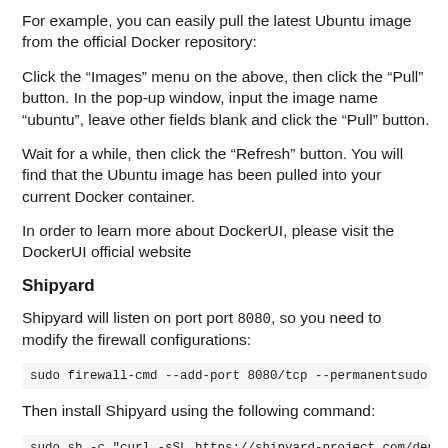For example, you can easily pull the latest Ubuntu image from the official Docker repository:
Click the “Images” menu on the above, then click the “Pull” button. In the pop-up window, input the image name “ubuntu”, leave other fields blank and click the “Pull” button.
Wait for a while, then click the “Refresh” button. You will find that the Ubuntu image has been pulled into your current Docker container.
In order to learn more about DockerUI, please visit the DockerUI official website
Shipyard
Shipyard will listen on port port 8080, so you need to modify the firewall configurations:
sudo firewall-cmd --add-port 8080/tcp --permanentsudo fir
Then install Shipyard using the following command:
sudo sh -c "curl -sSL https://shipyard-project.com/deplo